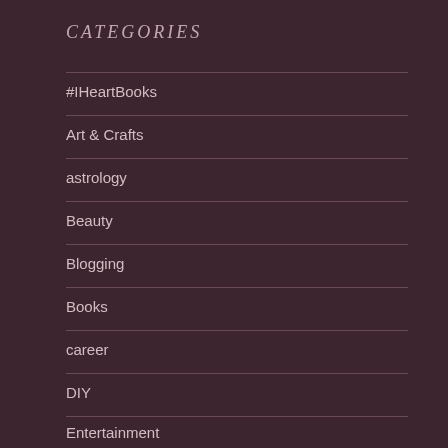CATEGORIES
#IHeartBooks
Art & Crafts
astrology
Beauty
Blogging
Books
career
DIY
Entertainment
fiction